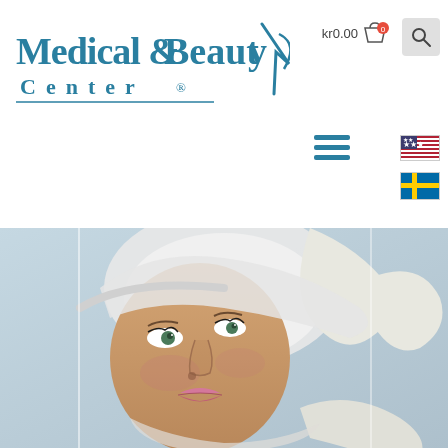[Figure (logo): Medical & Beauty Center logo with teal/blue text and stylized Y graphic]
kr0.00
[Figure (screenshot): Woman's face being examined by gloved hands in a medical/beauty context, light blue background]
[Figure (other): Hamburger menu icon in teal, US flag and Swedish flag icons for language selection]